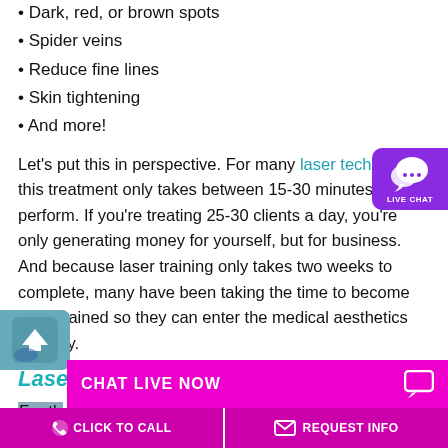• Dark, red, or brown spots
• Spider veins
• Reduce fine lines
• Skin tightening
• And more!
Let's put this in perspective. For many laser technicians, this treatment only takes between 15-30 minutes to perform. If you're treating 25-30 clients a day, you're only generating money for yourself, but for business. And because laser training only takes two weeks to complete, many have been taking the time to become laser trained so they can enter the medical aesthetics industry.
Laser Industry Continues to Grow
For the last decade, th...